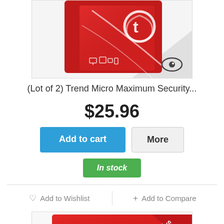[Figure (photo): Trend Micro Maximum Security software box, red with white swirl design, shown partially cropped at top, with an eye icon in bottom right corner]
(Lot of 2) Trend Micro Maximum Security...
$25.96
Add to cart
More
In stock
♡ Add to Wishlist
+ Add to Compare
[Figure (photo): Trend Micro product card/box, red, with Trend Micro logo and a red SALE! banner in the top right corner]